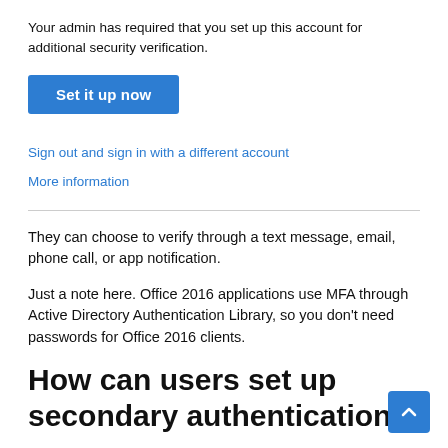Your admin has required that you set up this account for additional security verification.
[Figure (screenshot): Blue button labeled 'Set it up now']
Sign out and sign in with a different account
More information
They can choose to verify through a text message, email, phone call, or app notification.
Just a note here. Office 2016 applications use MFA through Active Directory Authentication Library, so you don't need passwords for Office 2016 clients.
How can users set up secondary authentication
Here's how you can set up secondary authentication for